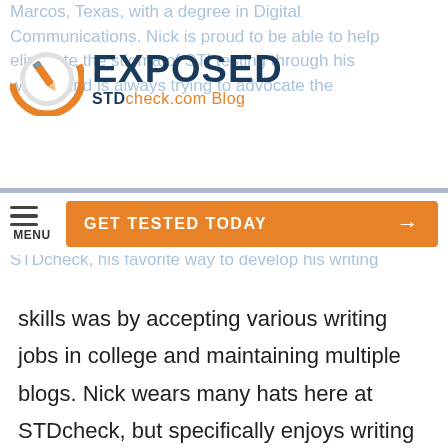[Figure (logo): EXPOSED STDcheck.com Blog logo with orange and grey circle containing a pencil icon]
Marcos, Texas, with a degree in Digital Communications. Nick is proud to be able to help eliminate the stigma of STI testing through his writing and is always trying to advocate the STDcheck, his favorite way to develop his writing
[Figure (other): Navigation bar with hamburger menu icon labeled MENU and an orange GET TESTED TODAY button with arrow]
skills was by accepting various writing jobs in college and maintaining multiple blogs. Nick wears many hats here at STDcheck, but specifically enjoys writing accurate, well-researched content that is not only informative and relatable but sometimes also contains memes. When not writing, Nick likes to race cars and go-karts, eat Japanese food, and play games on his computer.